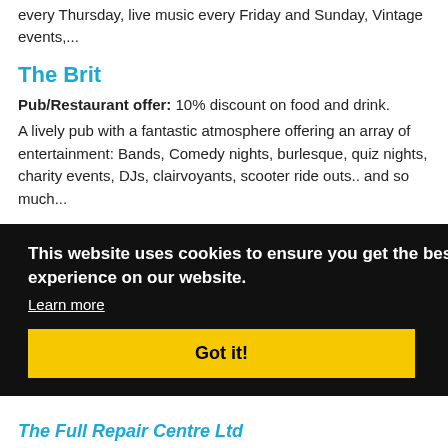every Thursday, live music every Friday and Sunday, Vintage events,...
The Brit
Pub/Restaurant offer: 10% discount on food and drink. A lively pub with a fantastic atmosphere offering an array of entertainment: Bands, Comedy nights, burlesque, quiz nights, charity events, DJs, clairvoyants, scooter ride outs.. and so much...
[Figure (screenshot): Cookie consent banner overlay with text 'This website uses cookies to ensure you get the best experience on our website.' with a Learn more link and a yellow 'Got it!' button]
The Full Repair Centre Ltd